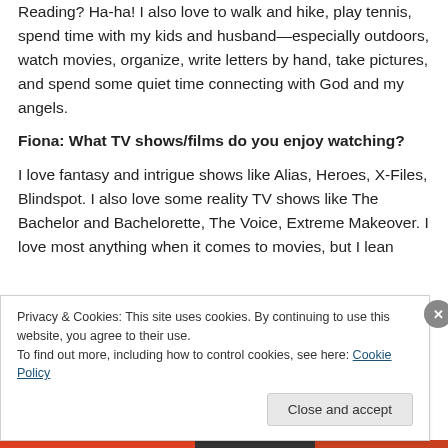Reading? Ha-ha! I also love to walk and hike, play tennis, spend time with my kids and husband—especially outdoors, watch movies, organize, write letters by hand, take pictures, and spend some quiet time connecting with God and my angels.
Fiona: What TV shows/films do you enjoy watching?
I love fantasy and intrigue shows like Alias, Heroes, X-Files, Blindspot. I also love some reality TV shows like The Bachelor and Bachelorette, The Voice, Extreme Makeover. I love most anything when it comes to movies, but I lean
Privacy & Cookies: This site uses cookies. By continuing to use this website, you agree to their use.
To find out more, including how to control cookies, see here: Cookie Policy
Close and accept